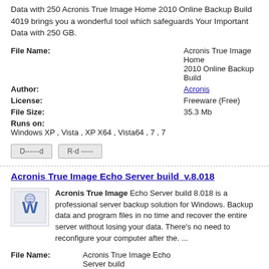Data with 250 Acronis True Image Home 2010 Online Backup Build 4019 brings you a wonderful tool which safeguards Your Important Data with 250 GB.
| File Name: | Acronis True Image Home 2010 Online Backup Build |
| Author: | Acronis |
| License: | Freeware (Free) |
| File Size: | 35.3 Mb |
| Runs on: | Windows XP , Vista , XP X64 , Vista64 , 7 , 7 |
Acronis True Image Echo Server build v.8.018
Acronis True Image Echo Server build 8.018 is a professional server backup solution for Windows. Backup data and program files in no time and recover the entire server without losing your data. There's no need to reconfigure your computer after the. ...
| File Name: | Acronis True Image Echo Server build |
| Author: | Acronis |
| License: | Trial ($699.00) |
| File Size: | 160.9 Mb |